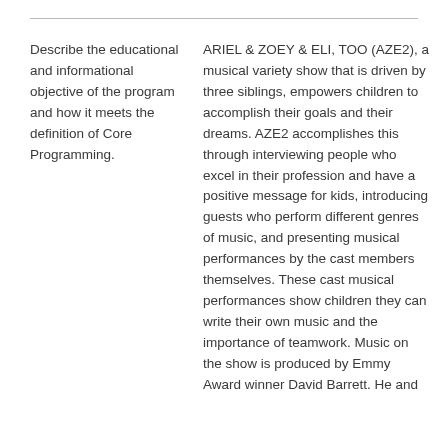Describe the educational and informational objective of the program and how it meets the definition of Core Programming.
ARIEL & ZOEY & ELI, TOO (AZE2), a musical variety show that is driven by three siblings, empowers children to accomplish their goals and their dreams. AZE2 accomplishes this through interviewing people who excel in their profession and have a positive message for kids, introducing guests who perform different genres of music, and presenting musical performances by the cast members themselves. These cast musical performances show children they can write their own music and the importance of teamwork. Music on the show is produced by Emmy Award winner David Barrett. He and